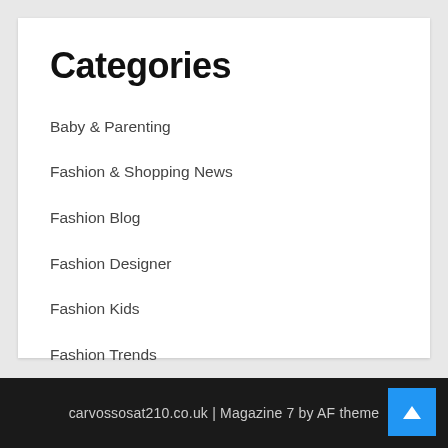Categories
Baby & Parenting
Fashion & Shopping News
Fashion Blog
Fashion Designer
Fashion Kids
Fashion Trends
Shopping Online
carvossosat210.co.uk | Magazine 7 by AF theme